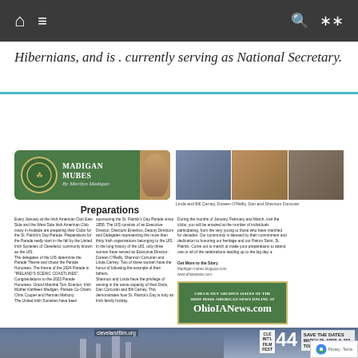Navigation bar with home, menu, search, and shuffle icons
Hibernians, and is . currently serving as National Secretary.
[Figure (illustration): Madigan Mubes column header box with green background, decorative logo, and author photo. By Marilyn Madigan.]
[Figure (photo): Three photos: Linda and Bill Carney, Doreen O'Reilly, Dan and Shannon Donovan]
Linda and Bill Carney, Doreen O'Reilly, Dan and Shannon Donovan
Preparations
Every January at the Irish American Club East Side and the West Side Irish American Club many in Avalade are preparing their Clubs for the St. Patrick's Day Parade. Preparations for the Parade really start in the fall by the United Irish Societies of Cleveland, commonly known as the UIS. The delegates of the UIS determine the Parade Theme and chose the Parade Honorees. The theme of the 2024 Parade is "IRELAND'S SCENIC COASTLINES". Congratulations to the 2023 Parade Honorees: Grand Marshal Tom Scanlon, Irish Mother Kathleen Madigan, Parade Co-Chairs Chris Cooper and Herman Mahony. The United Irish Societies have been
sponsoring the St. Patrick's Day Parade since 1858. The UIS consists of an Executive Director, Directors Emeritus, Deputy Directors and Delegates representing the more than thirty Irish organizations belonging to the UIS. In the long history of the UIS, only three women have served as Executive Director: Doreen O'Reilly, Shannon Corcoran and Linda Carney. Two of these women have the honor of following the example of their fathers. Shannon and Linda have the privilege of serving in the same capacity of their Dads, Dan Corcoran and Bill Carney. This demonstrates how St. Patrick's Day is truly an Irish family holiday.
During the months of January, February and March, visit the clubs; you will be amazed at the number of individuals participating, from the very young to those who have marched for decades. Our community is blessed by their commitment and dedication to honoring our heritage and our Patron Saint, St. Patrick. Come out to march or make your preparations to attend one or all of the celebrations leading up to the big day.
Get More to the Story
Madrigan mubes.blogspot.com
www.ohioianews.com
[Figure (illustration): Green advertisement box: CHECK OUT ARCHIVE ISSUES OF THE OHIO IRISH AMERICAN NEWS ONLINE AT OhioIANews.com]
[Figure (photo): Cleveland International Film Festival 44 banner with city skyline. clevelandfilm.org. CLE INT'L FILM FEST 44. SAVE THE DATES. MARCH 25-APRIL 5, 202_. TOWER CITY CINEMA.]
[Figure (logo): reCAPTCHA Privacy - Terms badge]